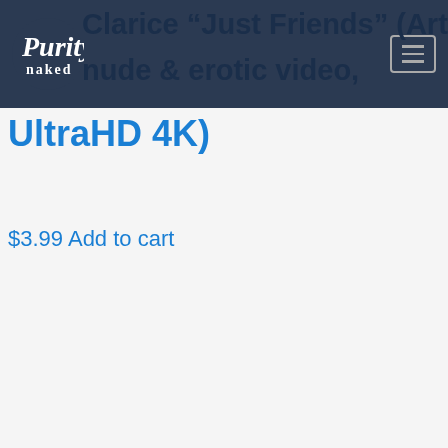Purity Naked
Clarice “Just Friends” (Art nude & erotic video, UltraHD 4K)
$3.99 Add to cart